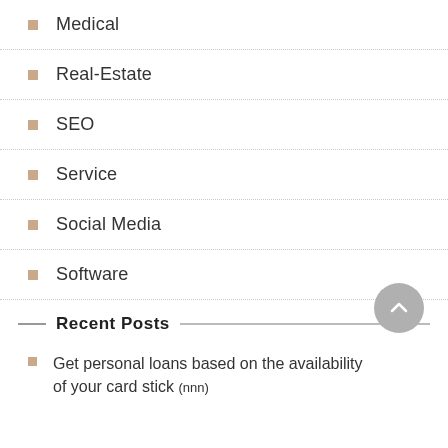Medical
Real-Estate
SEO
Service
Social Media
Software
Recent Posts
Get personal loans based on the availability of your card stick (nnn)